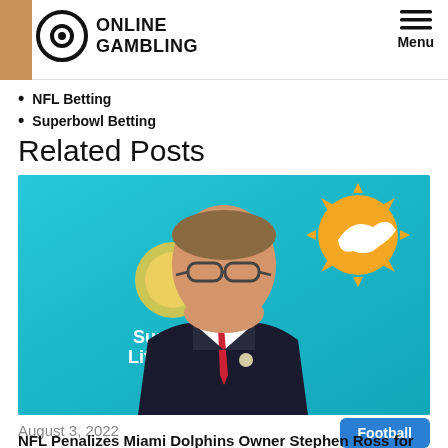ONLINE GAMBLING | Menu
NFL Betting
Superbowl Betting
Related Posts
[Figure (photo): Man in suit with glasses standing in front of a Miami Dolphins banner and Sun Life Financial logo on a teal/cyan background]
August 3, 2022
Football
NFL Penalizes Miami Dolphins Owner Stephen Ross for